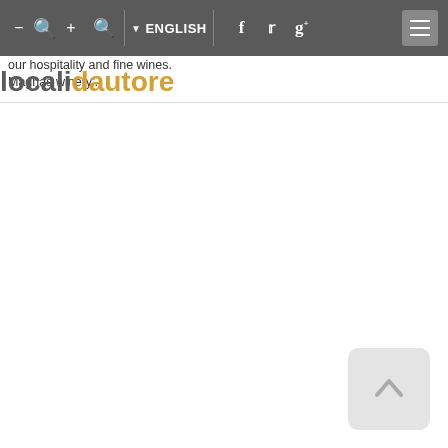localidautore — ENGLISH navigation bar with zoom controls, search, language selector, social icons (Facebook, Twitter, Google+), and hamburger menu
warm welcome and convivial atmosphere at its holiday farm where guests can enjoy our hospitality and fine wines. Magnas winery...
[Figure (screenshot): Scroll-to-top button, light grey rounded rectangle in bottom-right corner]